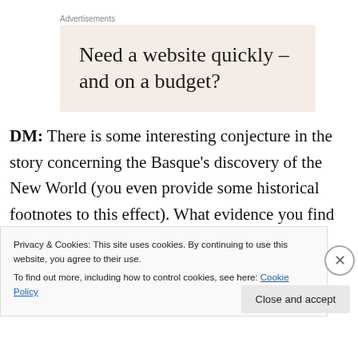Advertisements
[Figure (other): Advertisement banner with beige background reading: Need a website quickly – and on a budget?]
DM: There is some interesting conjecture in the story concerning the Basque's discovery of the New World (you even provide some historical footnotes to this effect). What evidence you find supporting this? And was this part of the
Privacy & Cookies: This site uses cookies. By continuing to use this website, you agree to their use.
To find out more, including how to control cookies, see here: Cookie Policy
Close and accept